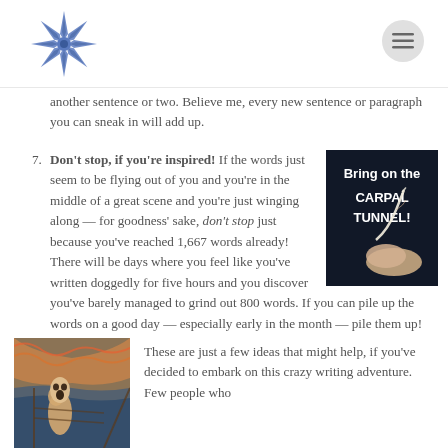Blog page header with star logo and menu button
another sentence or two. Believe me, every new sentence or paragraph you can sneak in will add up.
7. Don't stop, if you're inspired! If the words just seem to be flying out of you and you're in the middle of a great scene and you're just winging along — for goodness' sake, don't stop just because you've reached 1,667 words already! There will be days where you feel like you've written doggedly for five hours and you discover you've barely managed to grind out 800 words. If you can pile up the words on a good day — especially early in the month — pile them up!
[Figure (photo): Image with white text on dark background reading 'Bring on the CARPAL TUNNEL!' with a hand holding a quill pen]
[Figure (photo): The Scream painting by Edvard Munch]
These are just a few ideas that might help, if you've decided to embark on this crazy writing adventure. Few people who